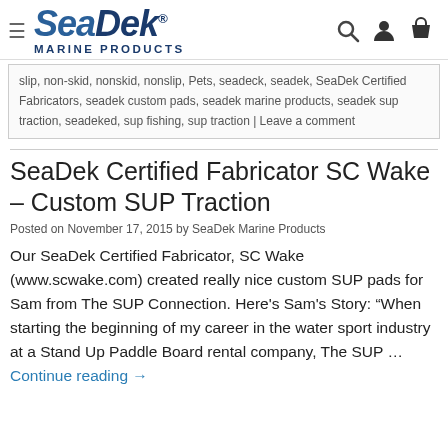SeaDek Marine Products
slip, non-skid, nonskid, nonslip, Pets, seadeck, seadek, SeaDek Certified Fabricators, seadek custom pads, seadek marine products, seadek sup traction, seadeked, sup fishing, sup traction | Leave a comment
SeaDek Certified Fabricator SC Wake – Custom SUP Traction
Posted on November 17, 2015 by SeaDek Marine Products
Our SeaDek Certified Fabricator, SC Wake (www.scwake.com) created really nice custom SUP pads for Sam from The SUP Connection. Here's Sam's Story: "When starting the beginning of my career in the water sport industry at a Stand Up Paddle Board rental company, The SUP … Continue reading →